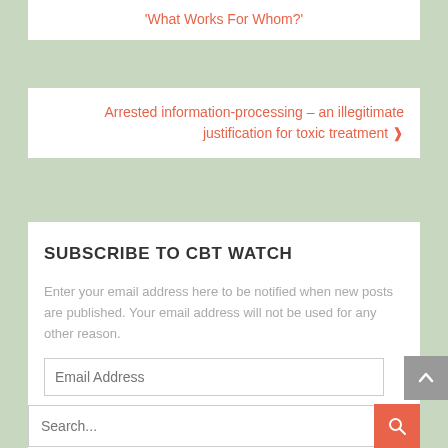'What Works For Whom?'
Arrested information-processing – an illegitimate justification for toxic treatment ›
SUBSCRIBE TO CBT WATCH
Enter your email address here to be notified when new posts are published. Your email address will not be used for any other reason.
Email Address
SUBSCRIBE
Search...